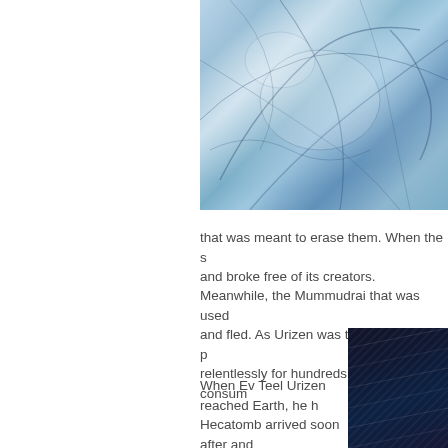[Figure (illustration): Blue-toned comic book style illustration showing abstract figures with flowing, crystalline or icy imagery]
that was meant to erase them. When the s... and broke free of its creators.
Meanwhile, the Mummudrai that was used... and fled. As Urizen was the most familiar... relentlessly for hundreds of years, consum...
When Ev Teel Urizen reached Earth, he h... Hecatomb arrived soon after and ravaged the island nation of Providence. The X-Men fought futilely against the massive storm of psychic energy, with Cable even...
[Figure (illustration): Dark blue/black comic book panel showing a figure, partially visible at bottom right of page]